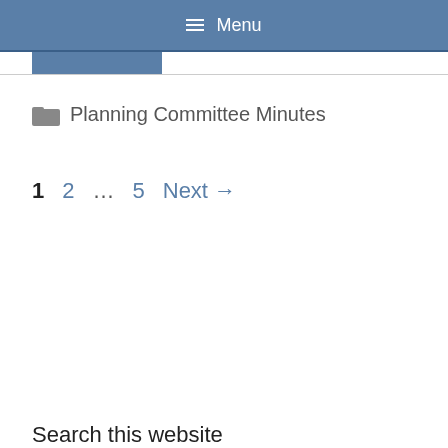≡ Menu
📁 Planning Committee Minutes
1  2  …  5  Next →
Search this website